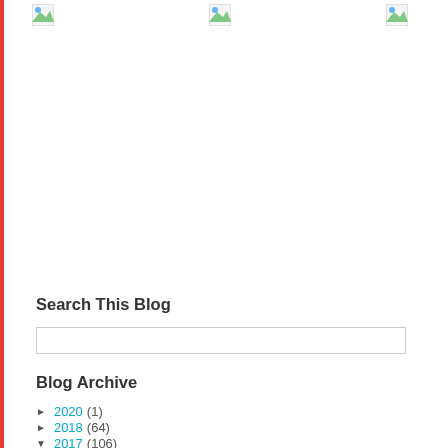[Figure (illustration): Four broken/placeholder image icons in a row at the top of the page]
Search This Blog
Blog Archive
► 2020 (1)
► 2018 (64)
▼ 2017 (106)
► December (5)
► November (10)
► October (11)
► September (10)